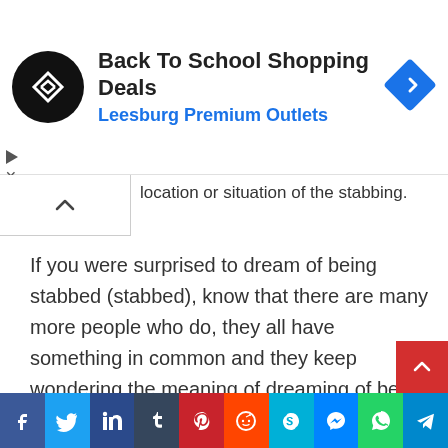[Figure (screenshot): Advertisement banner for Back To School Shopping Deals at Leesburg Premium Outlets, with a circular black logo with arrows, blue heading text, and a blue diamond navigation icon. Play and close controls on the left.]
location or situation of the stabbing.
If you were surprised to dream of being stabbed (stabbed), know that there are many more people who do, they all have something in common and they keep wondering the meaning of dreaming of being stabbed.
[Figure (screenshot): Social media share bar with icons for Facebook, Twitter, LinkedIn, Tumblr, Pinterest, Reddit, Skype, Messenger, WhatsApp, Telegram]